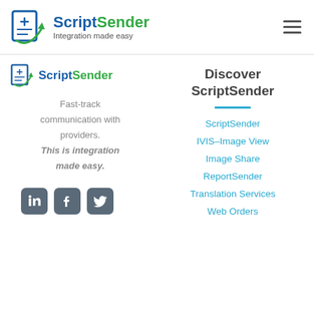ScriptSender – Integration made easy
[Figure (logo): ScriptSender logo with document icon and green arrow, blue text 'ScriptSender', grey tagline 'Integration made easy']
[Figure (logo): ScriptSender logo (smaller) left column]
Fast-track communication with providers. This is integration made easy.
[Figure (illustration): Social media icons: LinkedIn, Facebook, Twitter on dark grey rounded square backgrounds]
Discover ScriptSender
ScriptSender
IVIS–Image View
Image Share
ReportSender
Translation Services
Web Orders